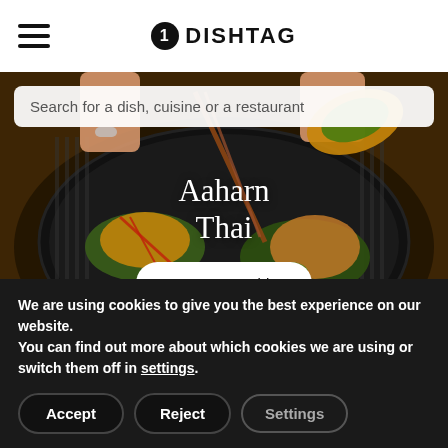DISHTAG
[Figure (photo): Search bar overlay on food photo showing Thai dishes in a dark bowl with chopsticks and banana leaves, with text 'Aaharn Thai' and 'Reserve a table' button]
We are using cookies to give you the best experience on our website.
You can find out more about which cookies we are using or switch them off in settings.
Accept   Reject   Settings